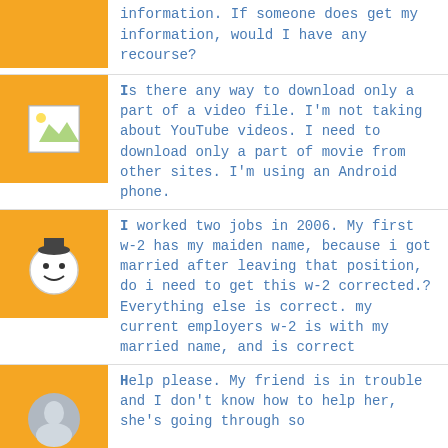information. If someone does get my information, would I have any recourse?
Is there any way to download only a part of a video file. I'm not taking about YouTube videos. I need to download only a part of movie from other sites. I'm using an Android phone.
I worked two jobs in 2006. My first w-2 has my maiden name, because i got married after leaving that position, do i need to get this w-2 corrected.? Everything else is correct. my current employers w-2 is with my married name, and is correct
Help please. My friend is in trouble and I don't know how to help her, she's going through so